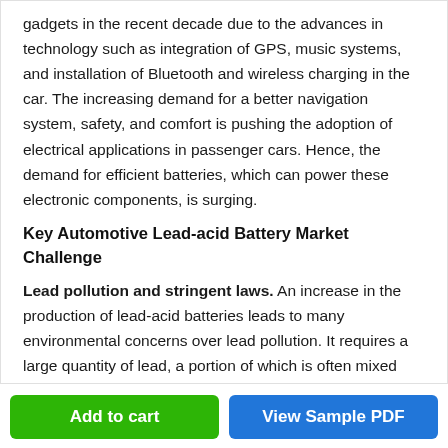gadgets in the recent decade due to the advances in technology such as integration of GPS, music systems, and installation of Bluetooth and wireless charging in the car. The increasing demand for a better navigation system, safety, and comfort is pushing the adoption of electrical applications in passenger cars. Hence, the demand for efficient batteries, which can power these electronic components, is surging.
Key Automotive Lead-acid Battery Market Challenge
Lead pollution and stringent laws. An increase in the production of lead-acid batteries leads to many environmental concerns over lead pollution. It requires a large quantity of lead, a portion of which is often mixed with the discharged fumes. This leads to health
Add to cart | View Sample PDF